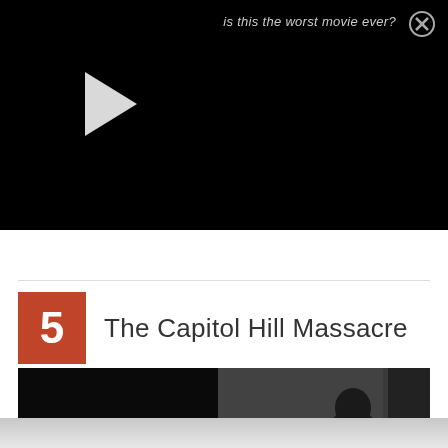[Figure (screenshot): Black video player area with white play button triangle in upper left, text 'is this the worst movie ever?' with close X button in top right corner]
is this the worst movie ever?
5  The Capitol Hill Massacre
[Figure (photo): Dark, near-black movie still showing a figure holding a gun, silhouetted against a grey wall, partial view of a door frame on the right]